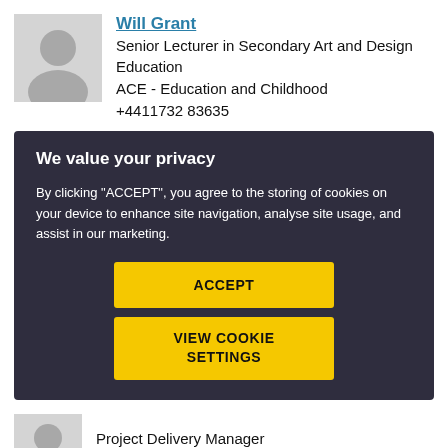[Figure (photo): Grey placeholder avatar silhouette icon]
Will Grant
Senior Lecturer in Secondary Art and Design Education
ACE - Education and Childhood
+4411732 83635
[Figure (screenshot): Cookie consent overlay popup with dark background. Title: We value your privacy. Body text: By clicking "ACCEPT", you agree to the storing of cookies on your device to enhance site navigation, analyse site usage, and assist in our marketing. Two yellow buttons: ACCEPT and VIEW COOKIE SETTINGS.]
[Figure (photo): Grey placeholder avatar silhouette icon (partially visible at bottom)]
Project Delivery Manager